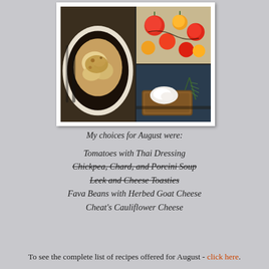[Figure (photo): A collage of three food photos: left large image shows cauliflower cheese in a dish, top right shows tomatoes with dressing, bottom right shows goat cheese toast with herbs]
My choices for August were:
Tomatoes with Thai Dressing
Chickpea, Chard, and Porcini Soup (strikethrough)
Leek and Cheese Toasties (strikethrough)
Fava Beans with Herbed Goat Cheese
Cheat's Cauliflower Cheese
To see the complete list of recipes offered for August - click here.